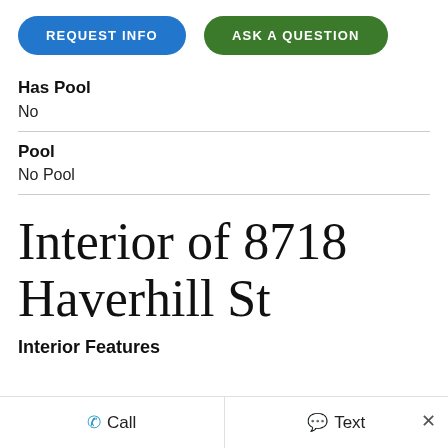[Figure (screenshot): Two buttons: 'REQUEST INFO' (blue pill) and 'ASK A QUESTION' (green pill)]
Has Pool
No
Pool
No Pool
Interior of 8718 Haverhill St
Interior Features
Call   Text   ×